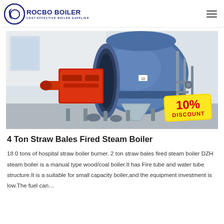[Figure (logo): Rocbo Boiler logo with circular blue emblem and text 'ROCBO BOILER / COST-EFFECTIVE BOILER SUPPLIER' in dark blue]
[Figure (photo): Industrial gas/oil fired steam boiler in a factory setting, large blue cylindrical body with red burner assembly, red and silver components, pipes and valves visible. A '10% DISCOUNT' yellow badge overlaid in bottom right corner.]
4 Ton Straw Bales Fired Steam Boiler
18 0 tons of hospital straw boiler burner. 2 ton straw bales fired steam boiler DZH steam boiler is a manual type wood/coal boiler.It has Fire tube and water tube structure.It is a suitable for small capacity boiler,and the equipment investment is low.The fuel can…